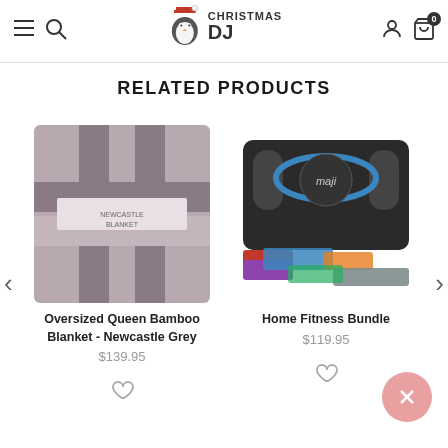Christmas DJ — navigation header with hamburger menu, search, logo, account, and cart icons
RELATED PRODUCTS
[Figure (photo): Folded grey and white Oversized Queen Bamboo Blanket in Newcastle Grey colorway]
Oversized Queen Bamboo Blanket - Newcastle Grey
$139.95
[Figure (photo): Home Fitness Bundle including jump rope, resistance bands in multiple colors, and carrying bag]
Home Fitness Bundle
$119.95